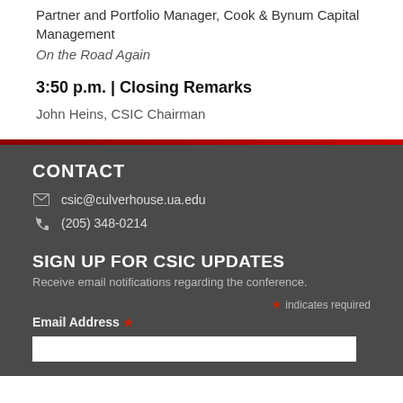Partner and Portfolio Manager, Cook & Bynum Capital Management
On the Road Again
3:50 p.m. | Closing Remarks
John Heins, CSIC Chairman
CONTACT
csic@culverhouse.ua.edu
(205) 348-0214
SIGN UP FOR CSIC UPDATES
Receive email notifications regarding the conference.
* indicates required
Email Address *